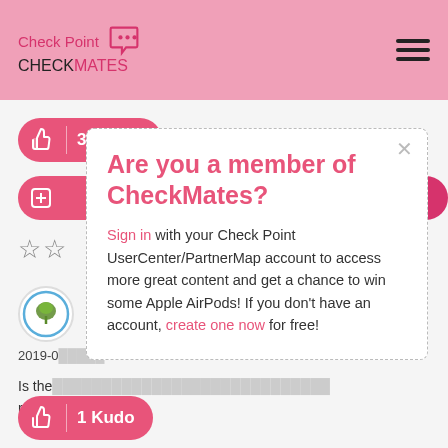Check Point CHECKMATES
[Figure (screenshot): Kudos button showing thumbs up icon and 3 Kudos count]
Are you a member of CheckMates?
Sign in with your Check Point UserCenter/PartnerMap account to access more great content and get a chance to win some Apple AirPods! If you don't have an account, create one now for free!
2019-0...
Is the... release...
[Figure (screenshot): Bottom kudos button showing 1 Kudo]